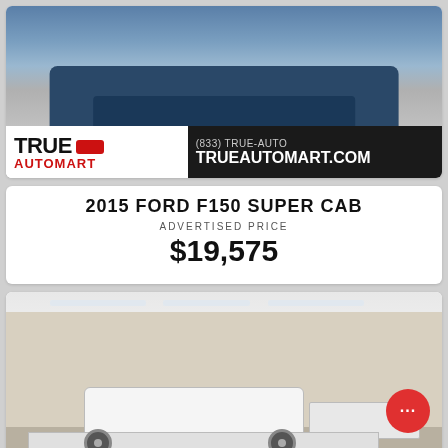[Figure (photo): Blue Ford F150 truck photo with True AutoMart logo bar showing phone (833) TRUE-AUTO and website TRUEAUTOMART.COM]
2015 FORD F150 SUPER CAB
ADVERTISED PRICE
$19,575
[Figure (photo): White Ford F-Series Super Duty crew cab truck photographed inside a dealership garage, with a red chat bubble icon overlay in lower right]